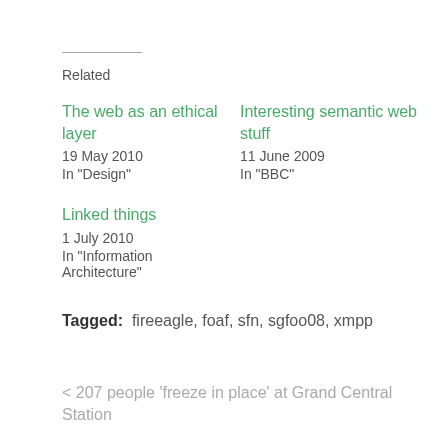Related
The web as an ethical layer
19 May 2010
In "Design"
Interesting semantic web stuff
11 June 2009
In "BBC"
Linked things
1 July 2010
In "Information Architecture"
Tagged: fireeagle, foaf, sfn, sgfoo08, xmpp
< 207 people 'freeze in place' at Grand Central Station